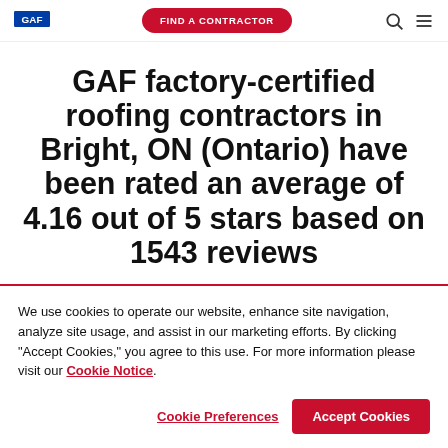GAF | FIND A CONTRACTOR
GAF factory-certified roofing contractors in Bright, ON (Ontario) have been rated an average of 4.16 out of 5 stars based on 1543 reviews
We use cookies to operate our website, enhance site navigation, analyze site usage, and assist in our marketing efforts. By clicking "Accept Cookies," you agree to this use. For more information please visit our Cookie Notice.
Cookie Preferences | Accept Cookies